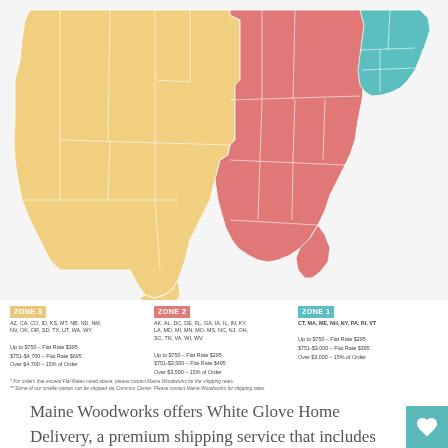[Figure (map): US shipping zone map with three color zones: Zone 3 (western states, yellow/tan), Zone 2 (central/southern states, red/coral), Zone 1 (northeastern states, teal/cyan)]
ZONE 3
AZ, CA, CO, ID, KS, MT, NB, ND, NM, NV, OK, OR, SD, TX, UT, WA, WY
Up to $750 – Flat Rate $395
$751-$4,700 – Flat Rate $695
Over $4,700 – 15% of Order
ZONE 2
AK, AL, DC, DE, FL, GA, IA, IL, IN, KY, LA, MD, MI, MN, MO, MS, NC, NJ, OH, SC, TN, VA, WI, WV
Up to $750 – Flat Rate $295
$751-$3,500 – Flat Rate $495
Over $3,500 – 15% of Order
ZONE 1
CT, MA, ME, NH, NY, PA, RI, VT
Up to $750 – Flat Rate $295
$751-$3,000 – Flat Rate $395
Over $3,000 – 15% of Order
* For orders that exceed Flat Rates noted above, please contact Maine Woodworks for the shipping rates.
** Some of our smaller pieces can be shipped via Common Carrier. Please contact Maine Woodworks for shipping rates.
Maine Woodworks offers White Glove Home Delivery, a premium shipping service that includes final quality inspection of your furniture in our workshop before it is blanket wrapped and delivered to your destination. This